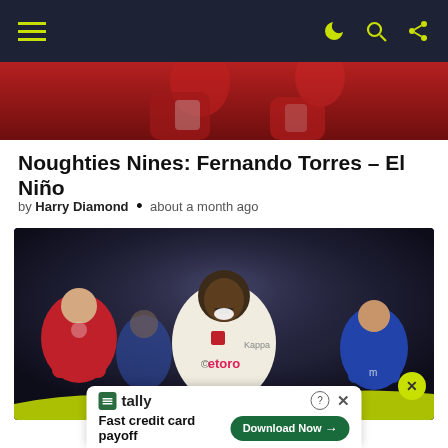Navigation bar with hamburger menu and icons
[Figure (photo): Cropped top portion of a football/soccer photo showing players in red jerseys]
Noughties Nines: Fernando Torres – El Niño
by Harry Diamond • about a month ago
[Figure (photo): Football player in white AS Monaco jersey with 'etoro' sponsor, celebrating with mouth open, surrounded by other players]
Tally - Fast credit card payoff - Download Now